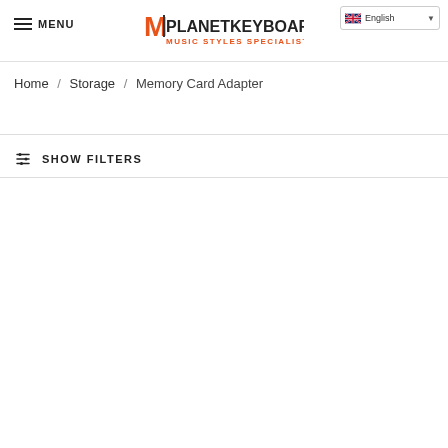MENU | MPLANETKEYBORD MUSIC STYLES SPECIALISTS | English
Home / Storage / Memory Card Adapter
SHOW FILTERS